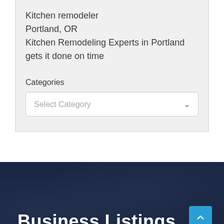Kitchen remodeler
Portland, OR
Kitchen Remodeling Experts in Portland gets it done on time
Categories
Select Category
Business Listings